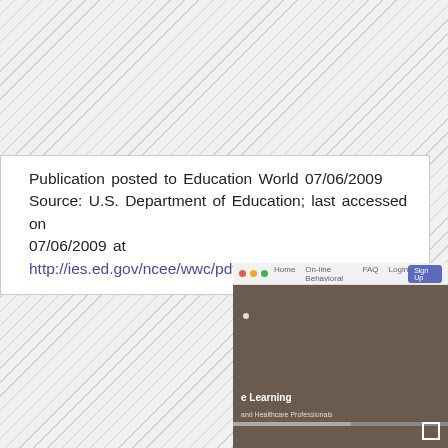Publication posted to Education World 07/06/2009
Source: U.S. Department of Education; last accessed on 07/06/2009 at
http://ies.ed.gov/ncee/wwc/pdf/practiceguides/behavior_pg_092308
[Figure (screenshot): Screenshot of a website browser window showing a webpage with text 'e Learning' and subtitle text, with a dark brownish background image. Browser chrome is visible at top.]